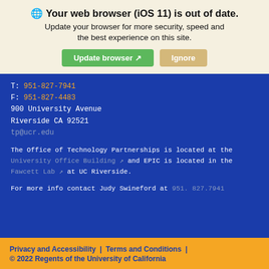🌐 Your web browser (iOS 11) is out of date. Update your browser for more security, speed and the best experience on this site.
Update browser ↗  Ignore
T: 951-827-7941
F: 951-827-4483
900 University Avenue
Riverside CA 92521
tp@ucr.edu
The Office of Technology Partnerships is located at the University Office Building and EPIC is located in the Fawcett Lab at UC Riverside.
For more info contact Judy Swineford at 951. 827.7941
Privacy and Accessibility | Terms and Conditions | © 2022 Regents of the University of California